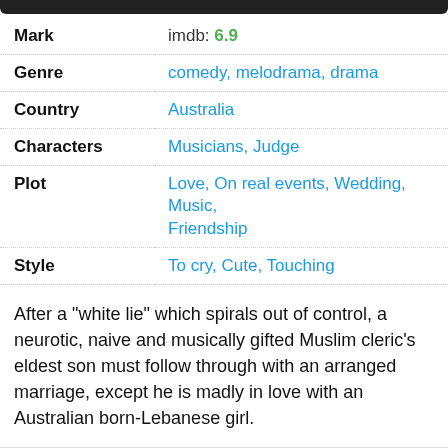| Field | Value |
| --- | --- |
| Mark | imdb: 6.9 |
| Genre | comedy, melodrama, drama |
| Country | Australia |
| Characters | Musicians, Judge |
| Plot | Love, On real events, Wedding, Music, Friendship |
| Style | To cry, Cute, Touching |
After a "white lie" which spirals out of control, a neurotic, naive and musically gifted Muslim cleric's eldest son must follow through with an arranged marriage, except he is madly in love with an Australian born-Lebanese girl.